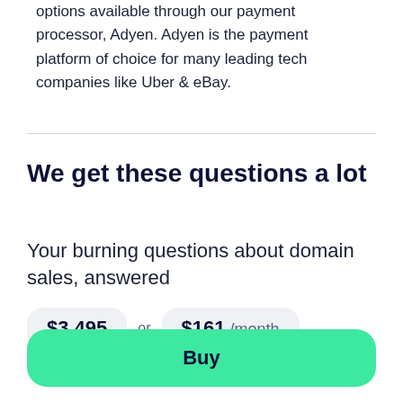options available through our payment processor, Adyen. Adyen is the payment platform of choice for many leading tech companies like Uber & eBay.
We get these questions a lot
Your burning questions about domain sales, answered
$3,495 or $161 /month
Buy